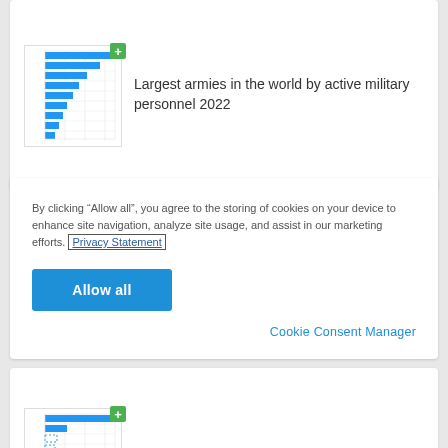[Figure (bar-chart): Thumbnail horizontal bar chart showing largest armies in the world by active military personnel 2022]
Largest armies in the world by active military personnel 2022
By clicking “Allow all”, you agree to the storing of cookies on your device to enhance site navigation, analyze site usage, and assist in our marketing efforts. Privacy Statement
Allow all
Cookie Consent Manager
[Figure (bar-chart): Thumbnail horizontal bar chart showing defense expenditures of NATO countries 2021]
Defense expenditures of NATO countries 2021